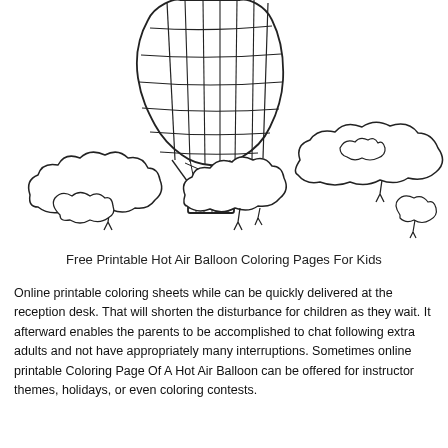[Figure (illustration): Line drawing of a hot air balloon with a basket floating above clouds and trees, coloring page style, black and white outlines only.]
Free Printable Hot Air Balloon Coloring Pages For Kids
Online printable coloring sheets while can be quickly delivered at the reception desk. That will shorten the disturbance for children as they wait. It afterward enables the parents to be accomplished to chat following extra adults and not have appropriately many interruptions. Sometimes online printable Coloring Page Of A Hot Air Balloon can be offered for instructor themes, holidays, or even coloring contests.